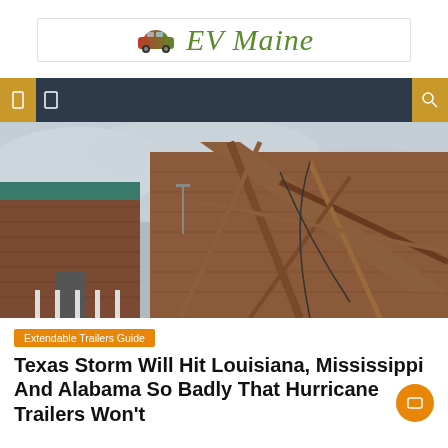[Figure (logo): EV Maine logo with a car icon and stylized text in italic serif font]
[Figure (other): Navigation bar with dark navy background, gold accent panels on left and right, navigation icons]
[Figure (photo): Photo of a storm-damaged building with collapsed roof structure, exposed wooden beams and debris]
Extendable Trailers Guide
Texas Storm Will Hit Louisiana, Mississippi And Alabama So Badly That Hurricane Trailers Won't